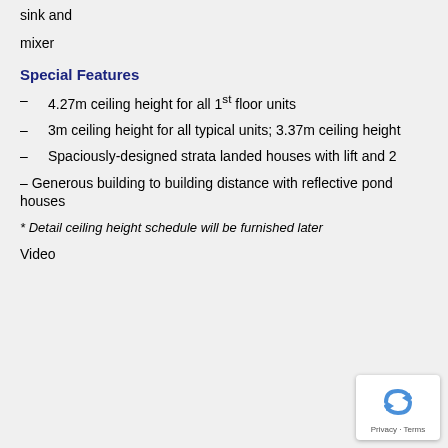sink and
mixer
Special Features
– 4.27m ceiling height for all 1st floor units
– 3m ceiling height for all typical units; 3.37m ceiling height
– Spaciously-designed strata landed houses with lift and 2
– Generous building to building distance with reflective pond houses
* Detail ceiling height schedule will be furnished later
Video